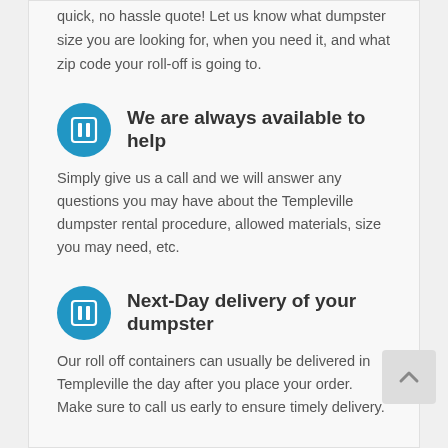quick, no hassle quote! Let us know what dumpster size you are looking for, when you need it, and what zip code your roll-off is going to.
We are always available to help
Simply give us a call and we will answer any questions you may have about the Templeville dumpster rental procedure, allowed materials, size you may need, etc.
Next-Day delivery of your dumpster
Our roll off containers can usually be delivered in Templeville the day after you place your order. Make sure to call us early to ensure timely delivery.
Get a Quote! 888-880-657